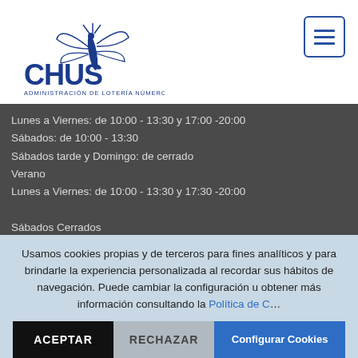[Figure (logo): CHUS Administración de Lotería Número 2 logo with dragonfly illustration in blue]
Lunes a Viernes: de 10:00 - 13:30 y 17:00 -20:00
Sábados: de 10:00 - 13:30
Sábados tarde y Domingo: de cerrado
Verano
Lunes a Viernes: de 10:00 - 13:30 y 17:30 -20:00

Sábados Cerrados

Para jugar hay que ser mayor de edad. +18
Juego responsable
Usamos cookies propias y de terceros para fines analíticos y para brindarle la experiencia personalizada al recordar sus hábitos de navegación. Puede cambiar la configuración u obtener más información consultando la Política de C...